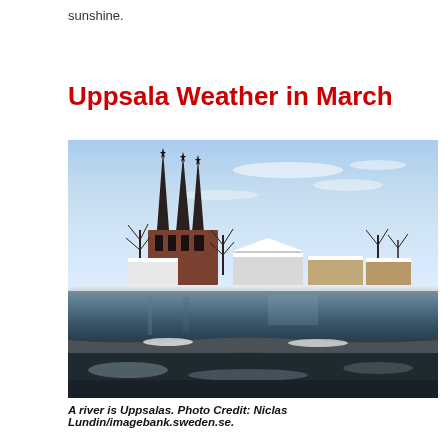sunshine.
Uppsala Weather in March
[Figure (photo): Winter scene of Uppsala with a river in the foreground, snow-covered buildings, bare trees, and Uppsala Cathedral's spires in the background under a pale blue sky.]
A river is Uppsalas. Photo Credit: Niclas Lundin/imagebank.sweden.se.